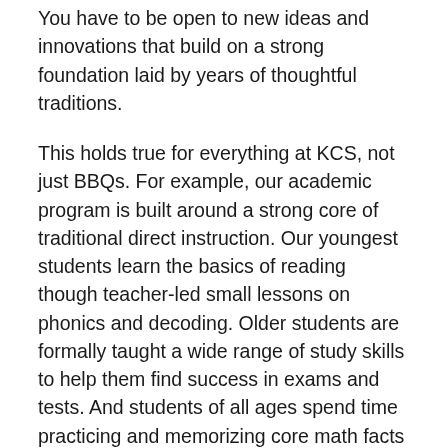You have to be open to new ideas and innovations that build on a strong foundation laid by years of thoughtful traditions.
This holds true for everything at KCS, not just BBQs. For example, our academic program is built around a strong core of traditional direct instruction. Our youngest students learn the basics of reading though teacher-led small lessons on phonics and decoding. Older students are formally taught a wide range of study skills to help them find success in exams and tests. And students of all ages spend time practicing and memorizing core math facts that help them make complex computations more quickly and easily. In many ways, all of these would have felt very familiar to the students and teachers at our first BBQ.
However, we also know that tradition must be partnered with brave innovations and experimentation. It's safe to